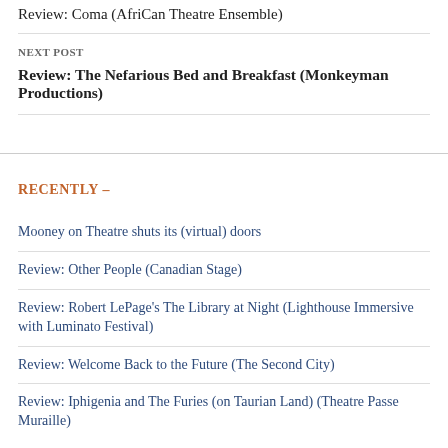Review: Coma (AfriCan Theatre Ensemble)
NEXT POST
Review: The Nefarious Bed and Breakfast (Monkeyman Productions)
RECENTLY –
Mooney on Theatre shuts its (virtual) doors
Review: Other People (Canadian Stage)
Review: Robert LePage's The Library at Night (Lighthouse Immersive with Luminato Festival)
Review: Welcome Back to the Future (The Second City)
Review: Iphigenia and The Furies (on Taurian Land) (Theatre Passe Muraille)